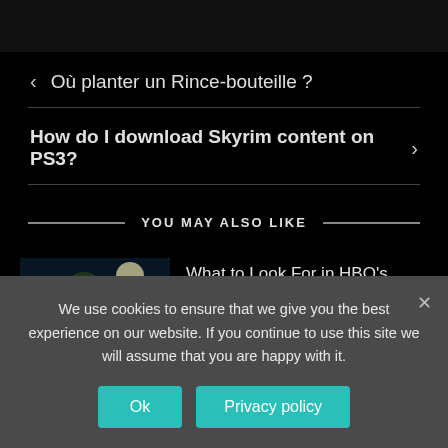[Figure (screenshot): Dark top image bar]
‹ Où planter un Rince-bouteille ?
How do I download Skyrim content on PS3? ›
— YOU MAY ALSO LIKE —
[Figure (photo): Article thumbnail showing a fantasy/sky scene]
What to Look For in HBO's House of the
We use cookies to ensure that we give you the best experience on our website. If you continue to use this site we will assume that you are happy with it.